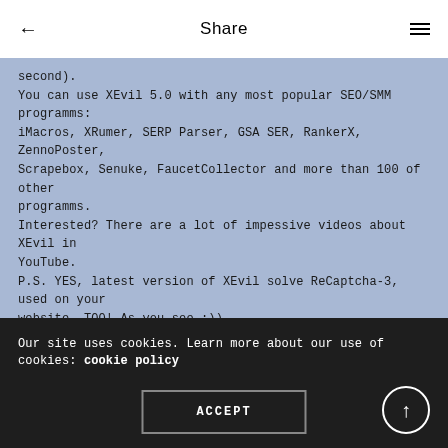← Share ≡
second).
You can use XEvil 5.0 with any most popular SEO/SMM programms: iMacros, XRumer, SERP Parser, GSA SER, RankerX, ZennoPoster, Scrapebox, Senuke, FaucetCollector and more than 100 of other programms.
Interested? There are a lot of impessive videos about XEvil in YouTube.
P.S. YES, latest version of XEvil solve ReCaptcha-3, used on your website, TOO! As you see ;))
Our site uses cookies. Learn more about our use of cookies: cookie policy
ACCEPT